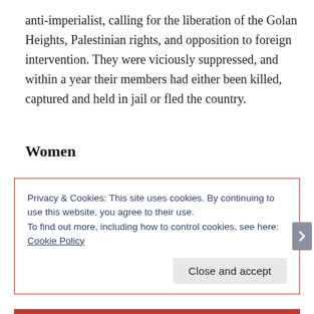anti-imperialist, calling for the liberation of the Golan Heights, Palestinian rights, and opposition to foreign intervention. They were viciously suppressed, and within a year their members had either been killed, captured and held in jail or fled the country.
Women
Privacy & Cookies: This site uses cookies. By continuing to use this website, you agree to their use.
To find out more, including how to control cookies, see here: Cookie Policy